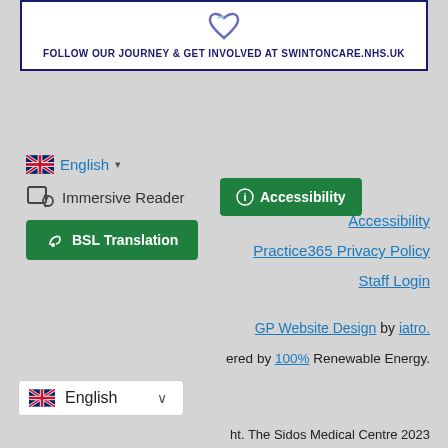[Figure (illustration): NHS logo or heart icon in blue/purple at top of box]
FOLLOW OUR JOURNEY & GET INVOLVED AT SWINTONCARE.NHS.UK
🇬🇧 English ▾
Immersive Reader
Accessibility (button)
BSL Translation (button)
Accessibility
Practice365 Privacy Policy
Staff Login
GP Website Design by iatro.
ered by 100% Renewable Energy.
English (language selector box)
ht. The Sidos Medical Centre 2023